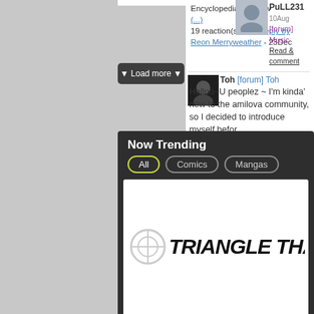[Figure (screenshot): User avatar placeholder icon for PuLL231]
PuLL231 10Aug
[forum] Music
Read & comment
▼ Load more ▼
Encyclopedia, http://w
(...)
19 reaction(s) - last reply by Reon Merryweather - 23Dec
[Figure (photo): Avatar thumbnail for user Toh]
Toh [forum] Toh
Helloo~U peoplez ~ I'm kinda' new to the amilova community, so I decided to introduce myself befor
(...)
16 reaction(s) - last reply by Toh - 28Oct
▼ Load more ▼
Now Trending
All   Comics   Mangas
[Figure (illustration): Manga cover image showing TRIANGLE THALE title with logo]